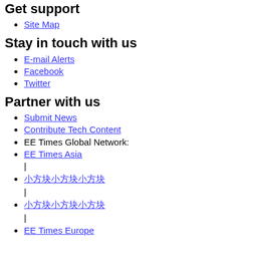Get support
Site Map
Stay in touch with us
E-mail Alerts
Facebook
Twitter
Partner with us
Submit News
Contribute Tech Content
EE Times Global Network:
EE Times Asia
□□□□□□
□□□□□□
EE Times Europe